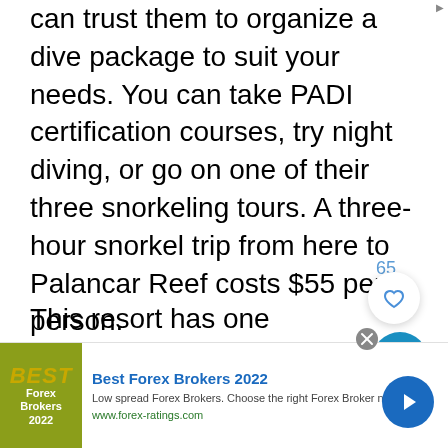can trust them to organize a dive package to suit your needs. You can take PADI certification courses, try night diving, or go on one of their three snorkeling tours. A three-hour snorkel trip from here to Palancar Reef costs $55 per person.
This resort has one restaurant and two bars, and if you want to explore further, the town of San Miguel is ten minutes by car. If
[Figure (other): Advertisement banner: Best Forex Brokers 2022. Logo with olive green background showing BEST Forex Brokers 2022. Text: Low spread Forex Brokers. Choose the right Forex Broker now! www.forex-ratings.com]